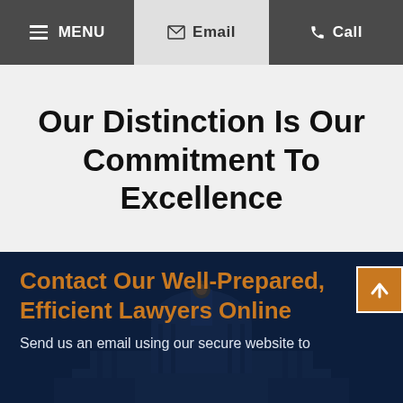MENU | Email | Call
Our Distinction Is Our Commitment To Excellence
Contact Our Well-Prepared, Efficient Lawyers Online
Send us an email using our secure website to